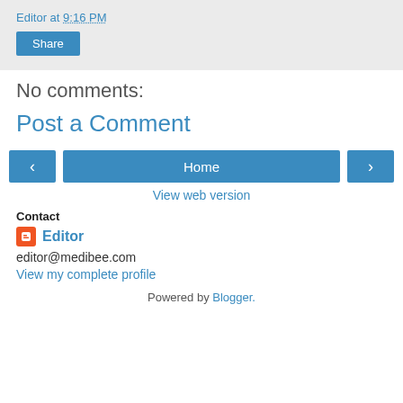Editor at 9:16 PM
Share
No comments:
Post a Comment
‹
Home
›
View web version
Contact
Editor
editor@medibee.com
View my complete profile
Powered by Blogger.